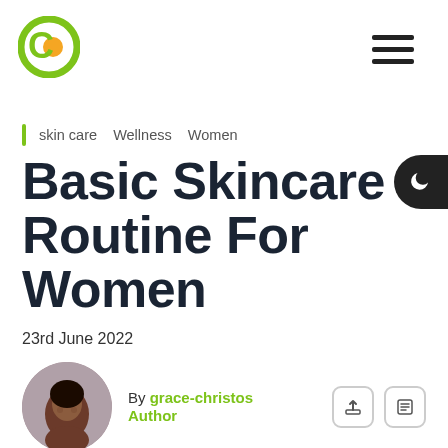[Figure (logo): Circular logo with green ring and orange dot in center, letter C shape]
[Figure (other): Hamburger menu icon — three horizontal dark bars]
[Figure (other): Dark mode toggle button — crescent moon icon on dark rounded tab on right edge]
skin care  Wellness  Women
Basic Skincare Routine For Women
23rd June 2022
[Figure (photo): Circular cropped photo of a smiling Black woman with earrings]
By grace-christos
Author